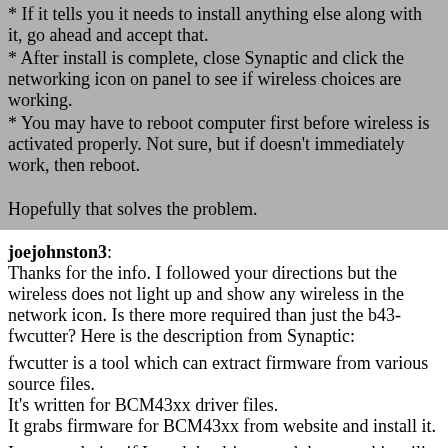* If it tells you it needs to install anything else along with it, go ahead and accept that.
* After install is complete, close Synaptic and click the networking icon on panel to see if wireless choices are working.
* You may have to reboot computer first before wireless is activated properly.  Not sure, but if doesn't immediately work, then reboot.
Hopefully that solves the problem.
joejohnston3: Thanks for the info. I followed your directions but the wireless does not light up and show any wireless in the network icon. Is there more required than just the b43-fwcutter? Here is the description from Synaptic:
fwcutter is a tool which can extract firmware from various source files.
It's written for BCM43xx driver files.
It grabs firmware for BCM43xx from website and install it.
I am wondering if I need the drivers and then use this utility to add them.
One quick note, the laptop is a Compaq Presario V5000.